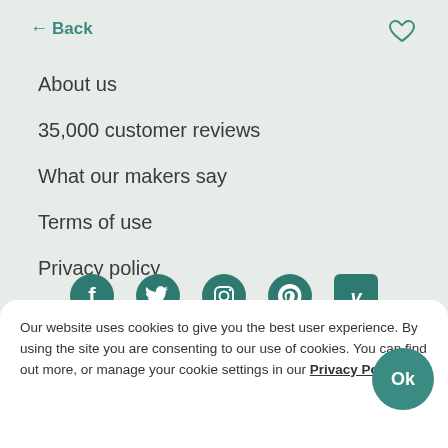← Back
About us
35,000 customer reviews
What our makers say
Terms of use
Privacy policy
[Figure (infographic): Social media icons: Facebook, Twitter, Instagram, Pinterest, Vimeo]
Our website uses cookies to give you the best user experience. By using the site you are consenting to our use of cookies. You can find out more, or manage your cookie settings in our Privacy Policy